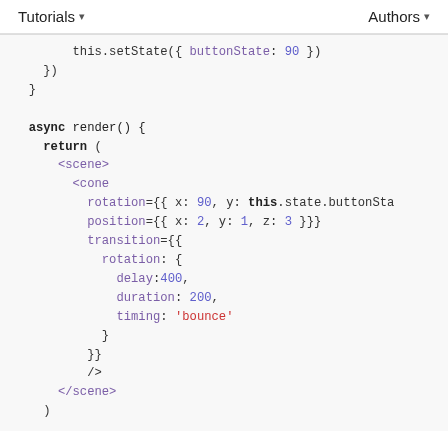Tutorials ▾   Authors ▾
Code block showing async render() method with JSX scene/cone component including rotation, position, and transition properties with bounce timing